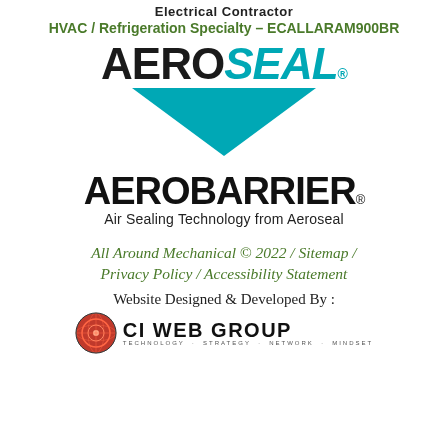Electrical Contractor
HVAC / Refrigeration Specialty – ECALLARAM900BR
[Figure (logo): Aeroseal logo with teal italic SEAL text and teal downward-pointing triangle/chevron beneath]
[Figure (logo): AeroBarrier logo in black bold letters with registered trademark, subtitle: Air Sealing Technology from Aeroseal]
All Around Mechanical © 2022 / Sitemap / Privacy Policy / Accessibility Statement
Website Designed & Developed By :
[Figure (logo): CI Web Group logo with red globe icon and bold text CI WEB GROUP with tagline TECHNOLOGY . STRATEGY . NETWORK . MINDSET]